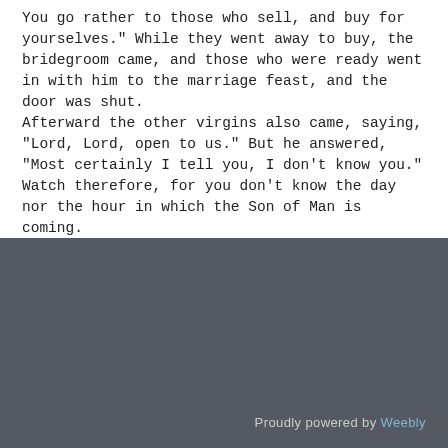You go rather to those who sell, and buy for yourselves." While they went away to buy, the bridegroom came, and those who were ready went in with him to the marriage feast, and the door was shut. Afterward the other virgins also came, saying, "Lord, Lord, open to us." But he answered, "Most certainly I tell you, I don't know you." Watch therefore, for you don't know the day nor the hour in which the Son of Man is coming.
— Matthew 25:1-13
Proudly powered by Weebly